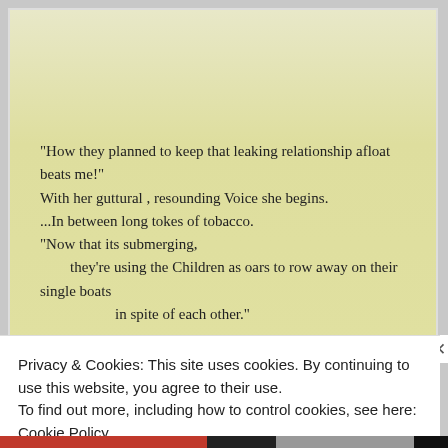[Figure (illustration): A yellowed/cream colored card with handwritten-style text containing a poem or quote about a leaking relationship and using children as oars.]
"How they planned to keep that leaking relationship afloat beats me!" With her guttural , resounding Voice she begins. ...In between long tokes of tobacco. "Now that its submerging, they're using the Children as oars to row away on their single boats in spite of each other."
Privacy & Cookies: This site uses cookies. By continuing to use this website, you agree to their use.
To find out more, including how to control cookies, see here: Cookie Policy
Close and accept